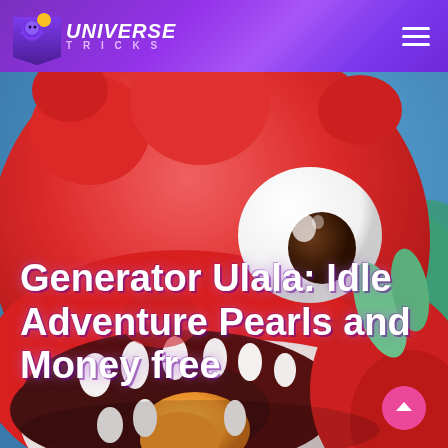UNIVERSE TRICKS
[Figure (illustration): Close-up 3D rendered cartoon red dinosaur/dragon character with wide open mouth showing white teeth and orange tongue, large white eye with dark pupil, on a blue background. The character appears to be from the mobile game Ulala: Idle Adventure.]
Generator Ulala: Idle Adventure Pearls and Money free